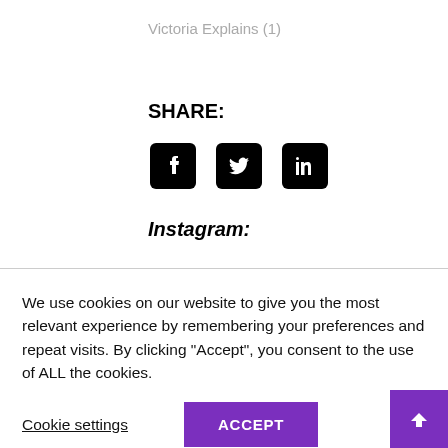Victoria Explains (1)
SHARE:
[Figure (other): Social media share icons: Facebook, Twitter, LinkedIn]
Instagram:
We use cookies on our website to give you the most relevant experience by remembering your preferences and repeat visits. By clicking “Accept”, you consent to the use of ALL the cookies.
Cookie settings
ACCEPT